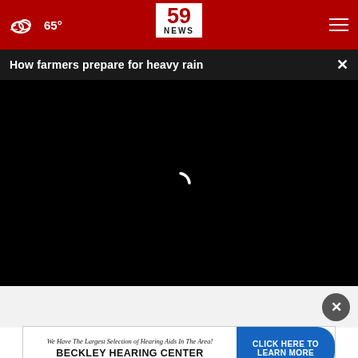☁ 65° | 59 NEWS
How farmers prepare for heavy rain ×
[Figure (screenshot): Black video player area with loading spinner]
Tags, It's Genius
Smart Life Reports
[Figure (photo): Beckley Hearing Center advertisement banner — We Have The Largest Selection of Hearing Aids In The Area! BECKLEY HEARING CENTER CLICK HERE TO LEARN MORE]